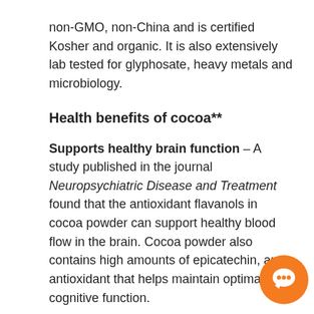non-GMO, non-China and is certified Kosher and organic. It is also extensively lab tested for glyphosate, heavy metals and microbiology.
Health benefits of cocoa**
Supports healthy brain function – A study published in the journal Neuropsychiatric Disease and Treatment found that the antioxidant flavanols in cocoa powder can support healthy blood flow in the brain. Cocoa powder also contains high amounts of epicatechin, an antioxidant that helps maintain optimal cognitive function.
Supports healthy cardiovascular function – Cocoa powder is rich in antioxidant flavonoids can support a healthy heart. According to a study published in the journal of Agriculture and Food...